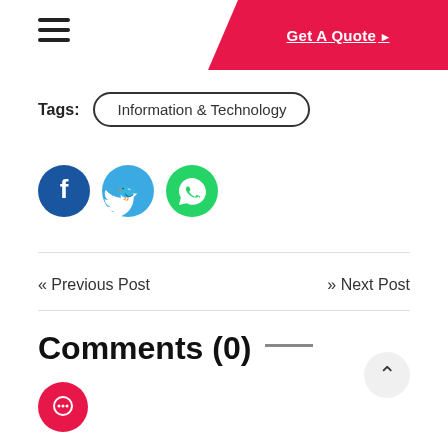Navigation header with hamburger menu and Get A Quote button
Tags: Information & Technology
[Figure (infographic): Social media share icons: Facebook (dark blue circle), Twitter (light blue circle), WhatsApp (green circle)]
« Previous Post    >> Next Post
Comments (0)